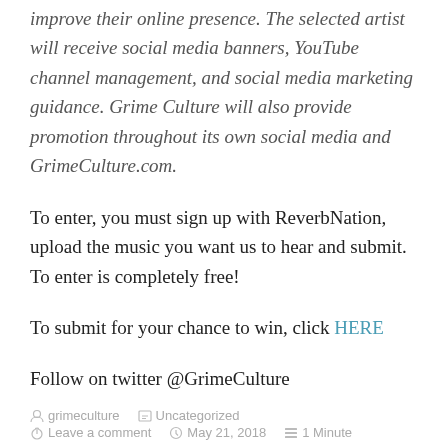improve their online presence. The selected artist will receive social media banners, YouTube channel management, and social media marketing guidance. Grime Culture will also provide promotion throughout its own social media and GrimeCulture.com.
To enter, you must sign up with ReverbNation, upload the music you want us to hear and submit. To enter is completely free!
To submit for your chance to win, click HERE
Follow on twitter @GrimeCulture
grimeculture   Uncategorized   Leave a comment   May 21, 2018   1 Minute